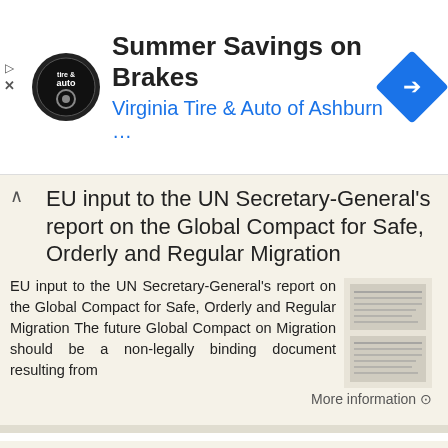[Figure (screenshot): Ad banner for Virginia Tire & Auto of Ashburn with logo, title 'Summer Savings on Brakes', subtitle 'Virginia Tire & Auto of Ashburn ...', and a blue navigation arrow icon on the right.]
EU input to the UN Secretary-General's report on the Global Compact for Safe, Orderly and Regular Migration
EU input to the UN Secretary-General's report on the Global Compact for Safe, Orderly and Regular Migration The future Global Compact on Migration should be a non-legally binding document resulting from
More information →
COUNCIL OF THE EUROPEAN UNION. Brussels, 15 May /07 DEVGEN 91 SOC 205
COUNCIL OF THE EUROPEAN UNION